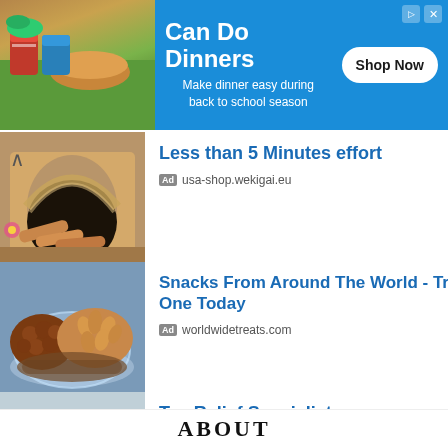[Figure (infographic): Can Do Dinners advertisement banner with food images and Shop Now button. Blue background with text: 'Can Do Dinners - Make dinner easy during back to school season']
[Figure (photo): Photo of a stone wood-fired oven with breadsticks]
Less than 5 Minutes effort
Ad  usa-shop.wekigai.eu
[Figure (photo): Photo of assorted nuts and seeds in a glass bowl]
Snacks From Around The World - Try One Today
Ad  worldwidetreats.com
[Figure (photo): Photo of business professionals smiling in a row]
Tax Relief Specialists
Ad  Tax Group Center
ABOUT